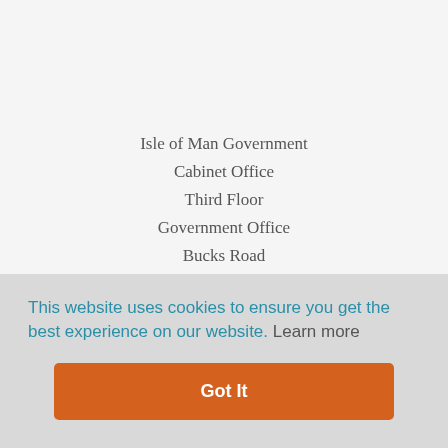Isle of Man Government
Cabinet Office
Third Floor
Government Office
Bucks Road
Douglas
IM1 3PN
[Figure (illustration): Facebook and Twitter social media icons side by side, dark teal rounded square buttons with white logos]
This website uses cookies to ensure you get the best experience on our website. Learn more
Got It